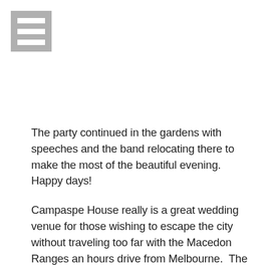[Figure (other): Hamburger/menu icon: a grey square with three white horizontal bars]
The party continued in the gardens with speeches and the band relocating there to make the most of the beautiful evening. Happy days!
Campaspe House really is a great wedding venue for those wishing to escape the city without traveling too far with the Macedon Ranges an hours drive from Melbourne. The scenery and peacefulness of the area really